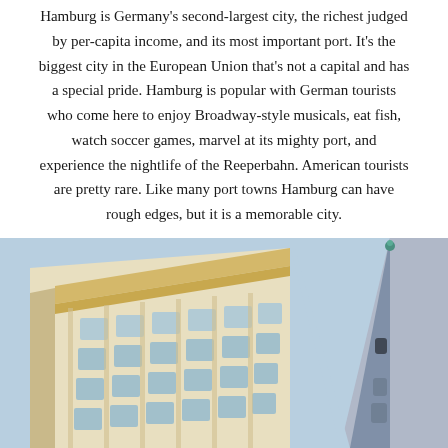Hamburg is Germany's second-largest city, the richest judged by per-capita income, and its most important port. It's the biggest city in the European Union that's not a capital and has a special pride. Hamburg is popular with German tourists who come here to enjoy Broadway-style musicals, eat fish, watch soccer games, marvel at its mighty port, and experience the nightlife of the Reeperbahn. American tourists are pretty rare. Like many port towns Hamburg can have rough edges, but it is a memorable city.
[Figure (photo): Street-level photo of Hamburg architecture: a multi-storey neoclassical building with ornate yellow-cream facade on the left, and a tall grey church spire on the right, photographed from below against a blue sky.]